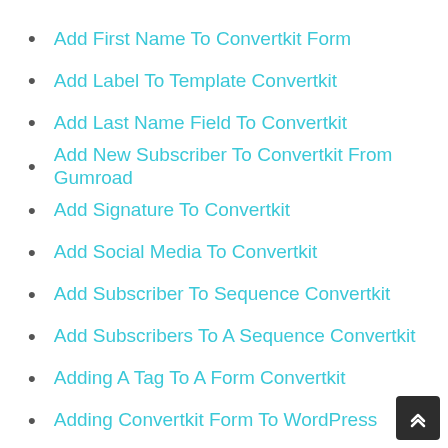Add First Name To Convertkit Form
Add Label To Template Convertkit
Add Last Name Field To Convertkit
Add New Subscriber To Convertkit From Gumroad
Add Signature To Convertkit
Add Social Media To Convertkit
Add Subscriber To Sequence Convertkit
Add Subscribers To A Sequence Convertkit
Adding A Tag To A Form Convertkit
Adding Convertkit Form To WordPress